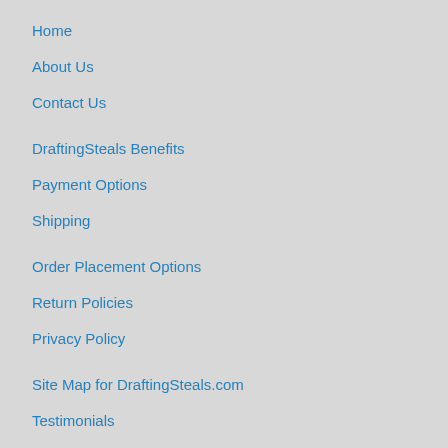Home
About Us
Contact Us
DraftingSteals Benefits
Payment Options
Shipping
Order Placement Options
Return Policies
Privacy Policy
Site Map for DraftingSteals.com
Testimonials